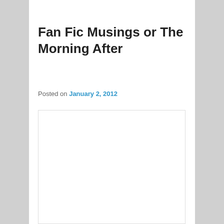Fan Fic Musings or The Morning After
Posted on January 2, 2012
[Figure (other): Blank white image placeholder with light border]